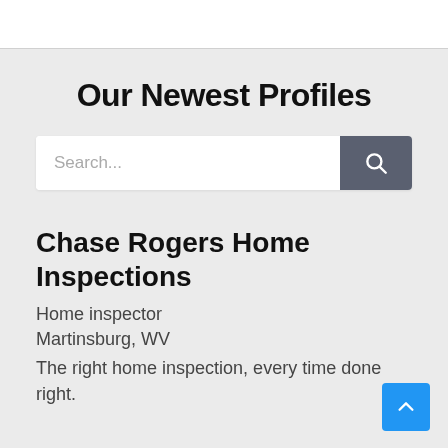Our Newest Profiles
Search...
Chase Rogers Home Inspections
Home inspector
Martinsburg, WV
The right home inspection, every time done right.